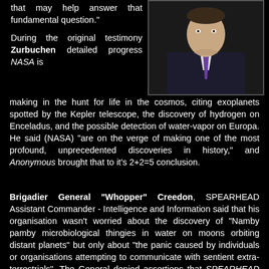that may help answer that fundamental question."
[Figure (photo): Man in dark suit with purple tie, professional headshot photo against dark background]
During the original testimony Zurbuchen detailed progress NASA is making in the hunt for life in the cosmos, citing exoplanets spotted by the Kepler telescope, the discovery of hydrogen on Enceladus, and the possible detection of water-vapor on Europa. He said (NASA) "are on the verge of making one of the most profound, unprecedented discoveries in history," and Anonymous brought that to it's 2+2=5 conclusion.
Brigadier General "Whopper" Creedon, SPEARHEAD Assistant Commander - Intelligence and Information said that his organisation wasn't worried about the discovery of "Namby pamby microbiological thingies in water on moons orbiting distant planets" but only about "the panic caused by individuals or organisations attempting to communicate with sentient extra-terrestrials". The General denied assertions that SPEARHEAD had Dr. Zurbuchen change his stance and issue the statements that made his original testimony